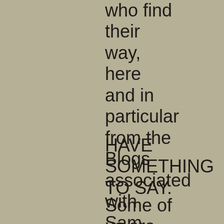who find their way, here and in particular from the Blogs associated with Sam.
HAVE SOMETHING TO SAY.
Some of us are more Serious, some of